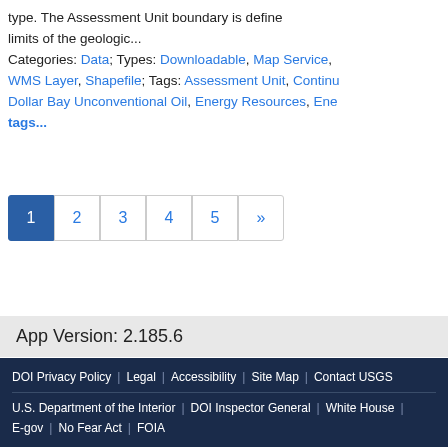type. The Assessment Unit boundary is defined limits of the geologic... Categories: Data; Types: Downloadable, Map Service, WMS Layer, Shapefile; Tags: Assessment Unit, Dollar Bay Unconventional Oil, Energy Resources, Ene... more tags...
Pagination: 1 (active), 2, 3, 4, 5, »
App Version: 2.185.6
DOI Privacy Policy | Legal | Accessibility | Site Map | Contact USGS | U.S. Department of the Interior | DOI Inspector General | White House | E-gov | No Fear Act | FOIA